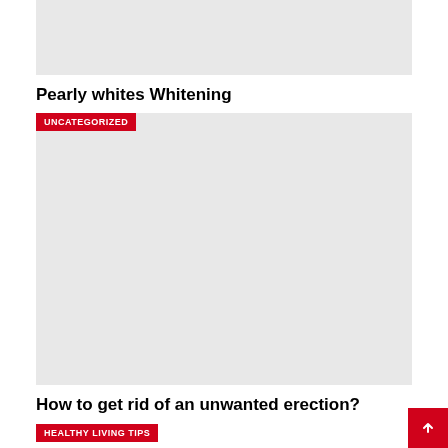[Figure (photo): Gray placeholder image at top]
Pearly whites Whitening
[Figure (photo): Gray placeholder image with UNCATEGORIZED badge overlay]
How to get rid of an unwanted erection?
HEALTHY LIVING TIPS